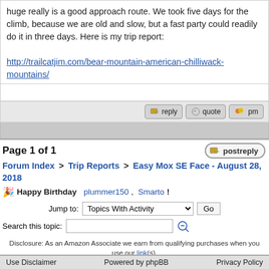huge really is a good approach route.  We took five days for the climb, because we are old and slow, but a fast party could readily do it in three days.  Here is my trip report:
http://trailcatjim.com/bear-mountain-american-chilliwack-mountains/
Page 1 of 1
Forum Index > Trip Reports > Easy Mox SE Face - August 28, 2018
Happy Birthday plummer150, Smarto!
Jump to: Topics With Activity  Go
Search this topic:
Disclosure: As an Amazon Associate we earn from qualifying purchases when you use our link(s).
Use Disclaimer    Powered by phpBB    Privacy Policy